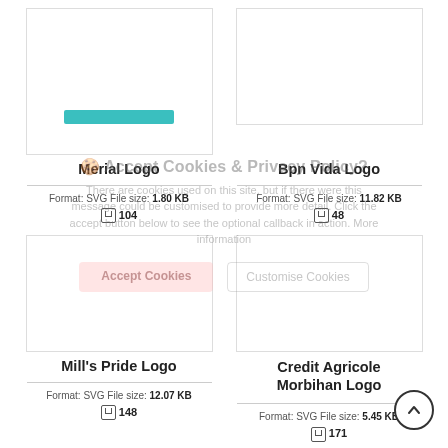[Figure (logo): Merial Logo preview card with teal bar]
Merial Logo
Format: SVG File size: 1.80 KB  ↓ 104
[Figure (logo): Bpn Vida Logo preview card empty]
Bpn Vida Logo
Format: SVG File size: 11.82 KB  ↓ 48
[Figure (logo): Mill's Pride Logo preview card empty]
Mill's Pride Logo
Format: SVG File size: 12.07 KB  ↓ 148
[Figure (logo): Credit Agricole Morbihan Logo preview card empty]
Credit Agricole Morbihan Logo
Format: SVG File size: 5.45 KB  ↓ 171
[Figure (screenshot): Cookie consent overlay partially visible]
[Figure (logo): Bottom left logo preview card partial]
[Figure (logo): Bottom right logo preview card partial]